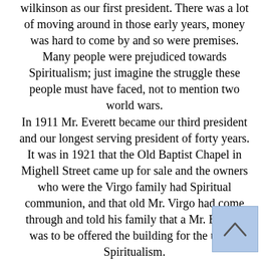wilkinson as our first president. There was a lot of moving around in those early years, money was hard to come by and so were premises. Many people were prejudiced towards Spiritualism; just imagine the struggle these people must have faced, not to mention two world wars.
In 1911 Mr. Everett became our third president and our longest serving president of forty years. It was in 1921 that the Old Baptist Chapel in Mighell Street came up for sale and the owners who were the Virgo family had Spiritual communion, and that old Mr. Virgo had come through and told his family that a Mr. Everett was to be offered the building for the use of Spiritualism.